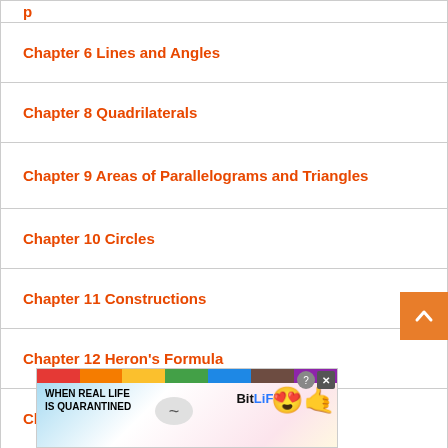Chapter 6 Lines and Angles
Chapter 8 Quadrilaterals
Chapter 9 Areas of Parallelograms and Triangles
Chapter 10 Circles
Chapter 11 Constructions
Chapter 12 Heron's Formula
Chapter 13 Surface Areas And Volumes
Cha…
[Figure (other): Advertisement banner: BitLife game ad with rainbow stripe, text 'WHEN REAL LIFE IS QUARANTINED', BitLife logo, and emoji characters]